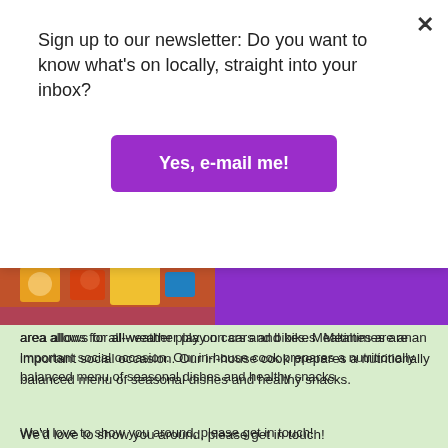Sign up to our newsletter: Do you want to know what's on locally, straight into your inbox?
Yes, e-mail me!
[Figure (photo): Partial view of children playing, colourful image strip visible at top of content area]
area allows for all-weather play on cars and bikes. Mealtimes are an important social occasion. Our in-house cook prepares a nutritionally balanced menu of seasonal dishes and healthy snacks.
We'd love to show you around, please get in touch!
Chapel Hall, Chapel Fold off Cardigan Road, Leeds LS6 3RG
0113 2782625
headingley@childrenscornerchildcare.co.uk
Social